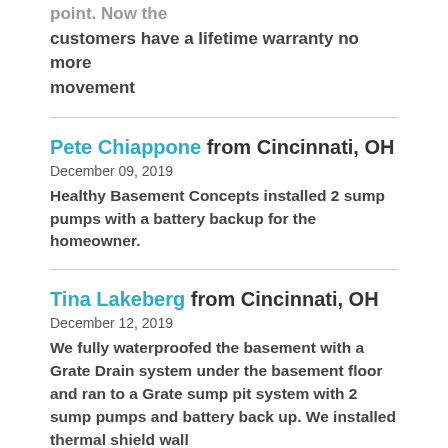point. Now the customers have a lifetime warranty no more movement
Pete Chiappone from Cincinnati, OH
December 09, 2019
Healthy Basement Concepts installed 2 sump pumps with a battery backup for the homeowner.
Tina Lakeberg from Cincinnati, OH
December 12, 2019
We fully waterproofed the basement with a Grate Drain system under the basement floor and ran to a Grate sump pit system with 2 sump pumps and battery back up. We installed thermal shield wall protection on all foundation walls...